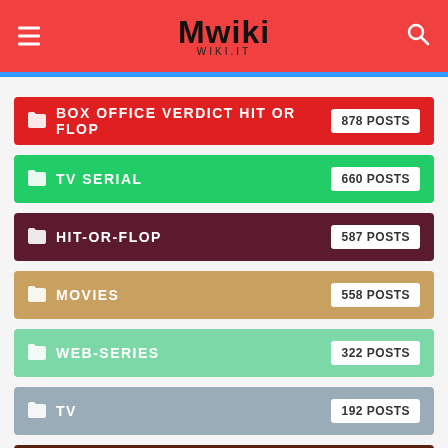Mwiki - WIKI.IT
BOX OFFICE VERDICT HIT OR FLOP — 878 POSTS
TV SERIAL — 660 POSTS
HIT-OR-FLOP — 587 POSTS
MOVIES — 558 POSTS
WEB-SERIES — 322 POSTS
TV — 192 POSTS
TRP RATING — 47 POSTS